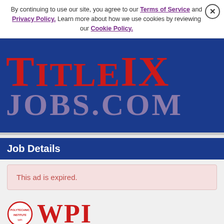By continuing to use our site, you agree to our Terms of Service and Privacy Policy. Learn more about how we use cookies by reviewing our Cookie Policy.
[Figure (logo): TitleIX Jobs.com logo — red serif text on dark blue background]
Job Details
This ad is expired.
[Figure (logo): WPI (Worcester Polytechnic Institute) logo — circular seal and bold red WPI letters]